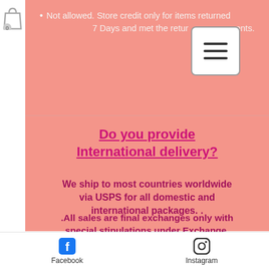[Figure (other): Shopping bag icon with 0 badge in left sidebar]
Not allowed. Store credit only for items returned within 7 Days and met the return requirements.
[Figure (other): Hamburger menu button (three horizontal lines) in rounded rectangle]
Do you provide International delivery?
We ship to most countries worldwide via USPS for all domestic and international packages. .
.All sales are final exchanges only with special stipulations under Exchange.
Facebook  Instagram